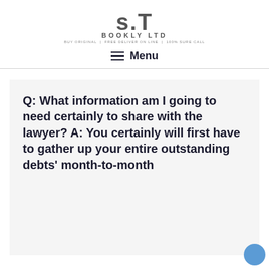S.T BOOKLY LTD
Menu
Q: What information am I going to need certainly to share with the lawyer? A: You certainly will first have to gather up your entire outstanding debts' month-to-month